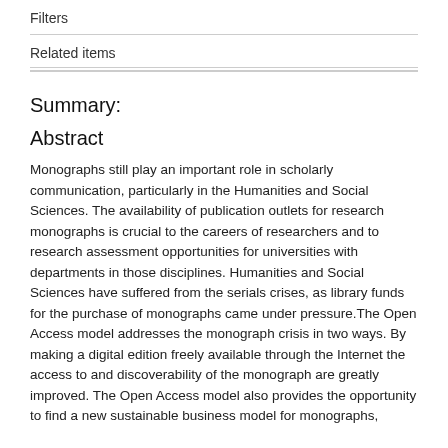Filters
Related items
Summary:
Abstract
Monographs still play an important role in scholarly communication, particularly in the Humanities and Social Sciences. The availability of publication outlets for research monographs is crucial to the careers of researchers and to research assessment opportunities for universities with departments in those disciplines. Humanities and Social Sciences have suffered from the serials crises, as library funds for the purchase of monographs came under pressure.The Open Access model addresses the monograph crisis in two ways. By making a digital edition freely available through the Internet the access to and discoverability of the monograph are greatly improved. The Open Access model also provides the opportunity to find a new sustainable business model for monographs,